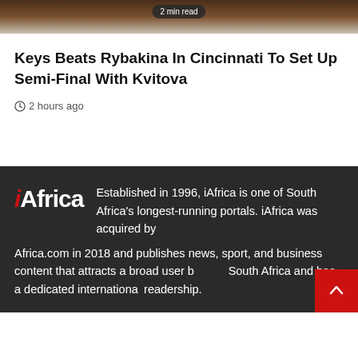[Figure (photo): Partial image of an athlete with a '2 min read' badge overlay at the top]
Keys Beats Rybakina In Cincinnati To Set Up Semi-Final With Kvitova
2 hours ago
[Figure (logo): iAfrica logo in white and red]
Established in 1996, iAfrica is one of South Africa's longest-running portals. iAfrica was acquired by Africa.com in 2018 and publishes news, sport, and business content that attracts a broad user base in South Africa and has a dedicated international readership.